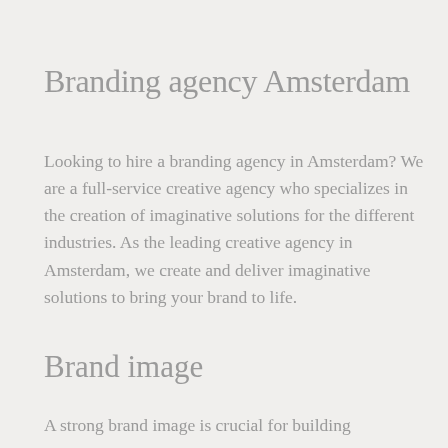Branding agency Amsterdam
Looking to hire a branding agency in Amsterdam? We are a full-service creative agency who specializes in the creation of imaginative solutions for the different industries. As the leading creative agency in Amsterdam, we create and deliver imaginative solutions to bring your brand to life.
Brand image
A strong brand image is crucial for building